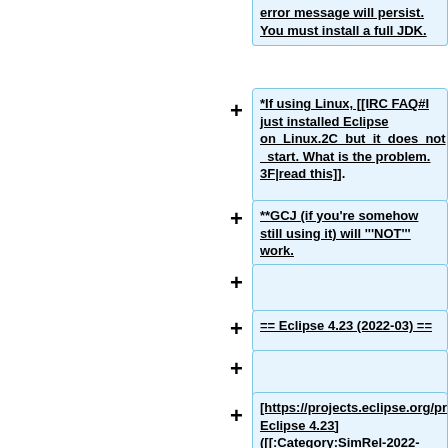error message will persist. You must install a full JDK.
*If using Linux, [[IRC FAQ#I just installed Eclipse on Linux.2C but it does not start. What is the problem. 3F|read this]].
**GCJ (if you're somehow still using it) will '''NOT''' work.
== Eclipse 4.23 (2022-03) ==
[https://projects.eclipse.org/projects/eclipse/releases/4.23.0 Eclipse 4.23] ([[:Category:SimRel-2022-03|2022-03]])